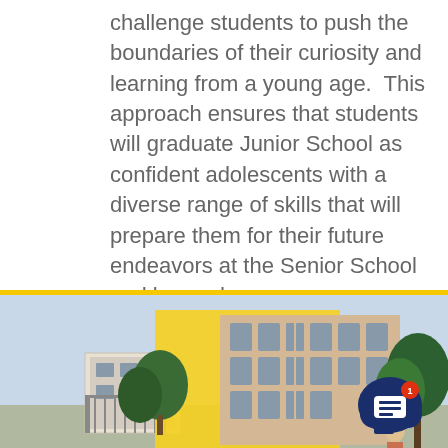challenge students to push the boundaries of their curiosity and learning from a young age.  This approach ensures that students will graduate Junior School as confident adolescents with a diverse range of skills that will prepare them for their future endeavors at the Senior School and beyond.
[Figure (photo): Exterior view of a school building with yellow accent panels, trees in the foreground, and a student visible. A dark navy blue chat button with a message icon and red notification dot (showing 1) overlays the bottom right of the image.]